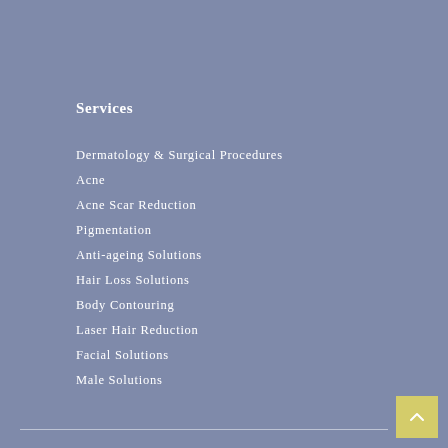Services
Dermatology & Surgical Procedures
Acne
Acne Scar Reduction
Pigmentation
Anti-ageing Solutions
Hair Loss Solutions
Body Contouring
Laser Hair Reduction
Facial Solutions
Male Solutions